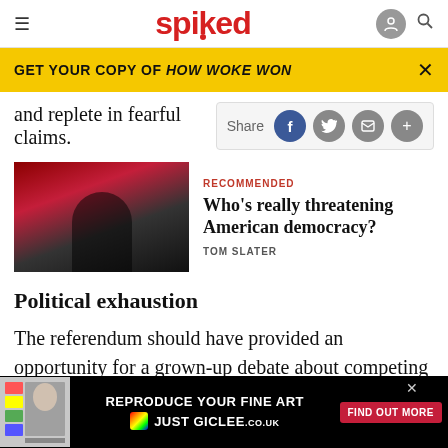spiked
GET YOUR COPY OF HOW WOKE WON
and replete in fearful claims.
[Figure (photo): Photo of a man at a podium with American flags and soldiers in the background, on a dark red-lit stage]
RECOMMENDED
Who's really threatening American democracy?
TOM SLATER
Political exhaustion
The referendum should have provided an opportunity for a grown-up debate about competing visions of th
kind o		pro-
ABOUT
[Figure (screenshot): Advertisement: REPRODUCE YOUR FINE ART - JUST GICLEE logo - FIND OUT MORE button]